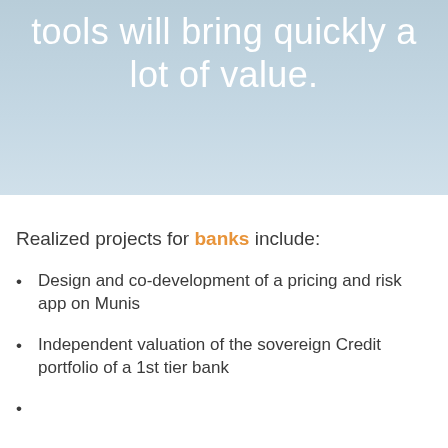tools will bring quickly a lot of value.
Realized projects for banks include:
Design and co-development of a pricing and risk app on Munis
Independent valuation of the sovereign Credit portfolio of a 1st tier bank